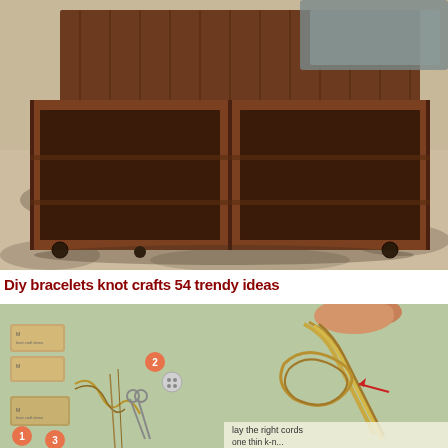[Figure (photo): A wooden crate coffee table on wheels sitting on a patterned rug in a living room setting. The table is made of dark stained wood crates arranged together.]
Diy bracelets knot crafts 54 trendy ideas
[Figure (photo): Two-panel instructional photo for DIY bracelet making. Left panel shows craft supplies including spools of twine/cord labeled 'M', scissors, a button, and loose cord on a green background with numbered labels 1 and 2. Right panel shows a hand holding and arranging leather/cord strands with text overlay 'lay the right cords' and a red arrow pointing to the cords.]